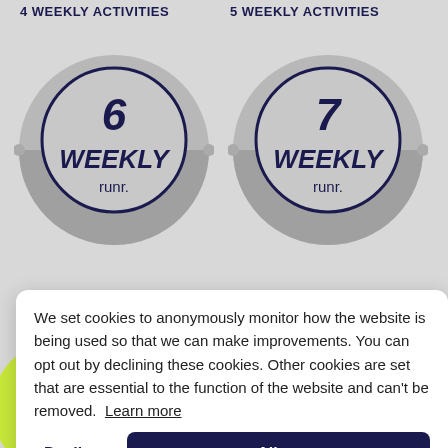4 WEEKLY ACTIVITIES
5 WEEKLY ACTIVITIES
[Figure (illustration): Circular badge with number 6 and text WEEKLY and runr. logo on gray background]
[Figure (illustration): Circular badge with number 7 and text WEEKLY and runr. logo on gray background]
TIVITIES
We set cookies to anonymously monitor how the website is being used so that we can make improvements. You can opt out by declining these cookies. Other cookies are set that are essential to the function of the website and can't be removed. Learn more
Decline
Allow
[Figure (illustration): Upward arrow icon in dark navy circle (scroll to top button)]
[Figure (illustration): Partial green circular badge with NS text visible at bottom right]
cloc
cloc